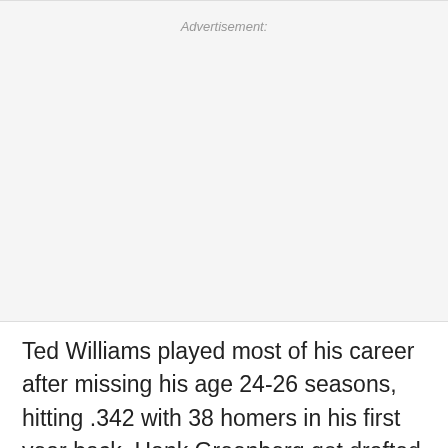[Figure (other): Advertisement placeholder box with light gray background]
Ted Williams played most of his career after missing his age 24-26 seasons, hitting .342 with 38 homers in his first year back. Hank Greenberg got drafted seven